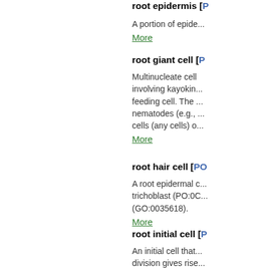root epidermis [P...
A portion of epide...
More
root giant cell [P...
Multinucleate cell... involving kayokin... feeding cell. The ... nematodes (e.g., ... cells (any cells) o...
More
root hair cell [PO...
A root epidermal c... trichoblast (PO:0... (GO:0035618).
More
root initial cell [P...
An initial cell that... division gives rise... the meristem...